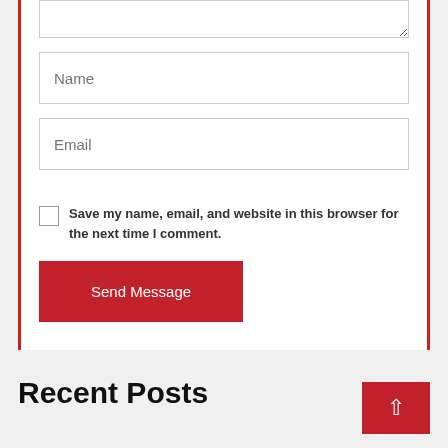Name (input field placeholder)
Email (input field placeholder)
Save my name, email, and website in this browser for the next time I comment.
Send Message
Recent Posts